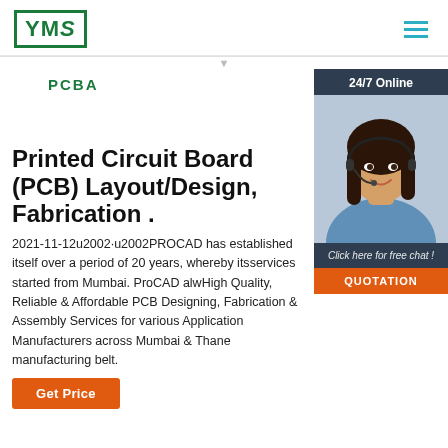YMS logo and navigation hamburger menu
PCBA
[Figure (photo): Customer service agent woman with headset, smiling, with '24/7 Online', 'Click here for free chat!', and 'QUOTATION' overlay elements]
Printed Circuit Board (PCB) Layout/Design, Fabrication .
2021-11-12u2002·u2002PROCAD has established itself over a period of 20 years, whereby its services started from Mumbai. ProCAD always High Quality, Reliable & Affordable PCB Designing, Fabrication & Assembly Services for various Application Manufacturers across Mumbai & Thane manufacturing belt.
Get Price